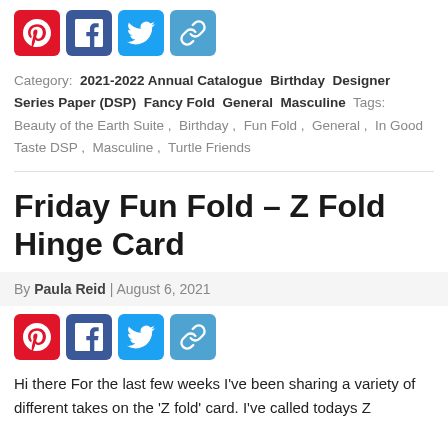[Figure (other): Row of four social sharing icon buttons: Pinterest (red), Facebook (blue), Twitter (blue), Link (blue)]
Category: 2021-2022 Annual Catalogue  Birthday  Designer Series Paper (DSP)  Fancy Fold  General  Masculine  Tags: Beauty of the Earth Suite , Birthday , Fun Fold , General , In Good Taste DSP , Masculine , Turtle Friends
Friday Fun Fold – Z Fold Hinge Card
By Paula Reid | August 6, 2021
[Figure (other): Row of four social sharing icon buttons: Pinterest (red), Facebook (blue), Twitter (blue), Link (blue)]
Hi there For the last few weeks I've been sharing a variety of different takes on the 'Z fold' card. I've called todays Z